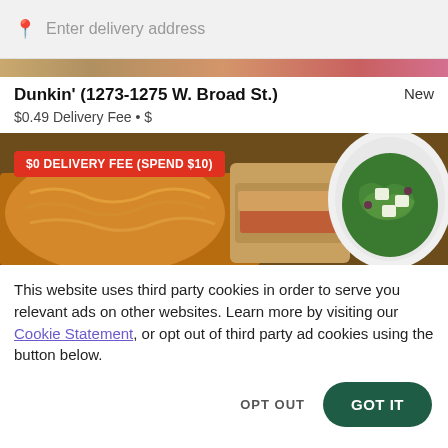Enter delivery address
Dunkin' (1273-1275 W. Broad St.)   New
$0.49 Delivery Fee • $
[Figure (photo): Food photo showing pasta, sandwich wrap, and salad dishes with a red promotional badge reading '$0 DELIVERY FEE (SPEND $10)']
This website uses third party cookies in order to serve you relevant ads on other websites. Learn more by visiting our Cookie Statement, or opt out of third party ad cookies using the button below.